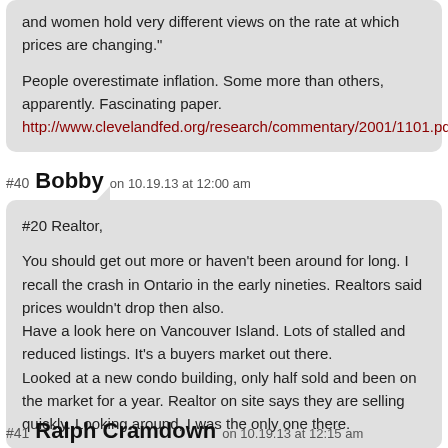and women hold very different views on the rate at which prices are changing."
People overestimate inflation. Some more than others, apparently. Fascinating paper.
http://www.clevelandfed.org/research/commentary/2001/1101.pdf
#40 Bobby on 10.19.13 at 12:00 am
#20 Realtor,

You should get out more or haven't been around for long. I recall the crash in Ontario in the early nineties. Realtors said prices wouldn't drop then also.
Have a look here on Vancouver Island. Lots of stalled and reduced listings. It's a buyers market out there.
Looked at a new condo building, only half sold and been on the market for a year. Realtor on site says they are selling quickly. Looking around, I was the only one there.
#41 Ralph Cramdown on 10.19.13 at 12:15 am